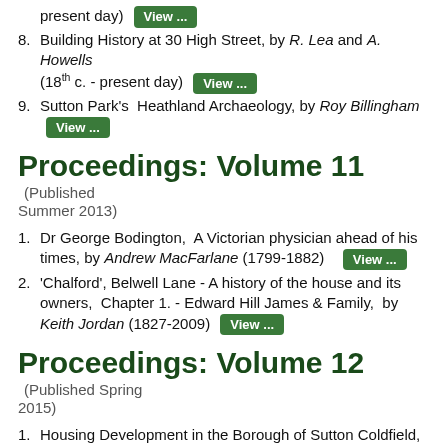present day)  View ...
8. Building History at 30 High Street, by R. Lea and A. Howells (18th c. - present day)  View ...
9. Sutton Park's  Heathland Archaeology, by Roy Billingham  View ...
Proceedings: Volume 11 (Published Summer 2013)
1. Dr George Bodington,  A Victorian physician ahead of his times, by Andrew MacFarlane (1799-1882)  View ...
2. 'Chalford', Belwell Lane - A history of the house and its owners,  Chapter 1. - Edward Hill James & Family,  by Keith Jordan (1827-2009)  View ...
Proceedings: Volume 12 (Published Spring 2015)
1. Housing Development in the Borough of Sutton Coldfield, as shown in the Annual Reports of the Medical Officer of  View ...